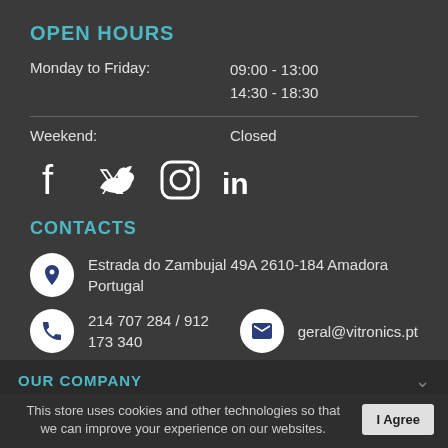OPEN HOURS
Monday to Friday:   09:00 - 13:00
                    14:30 - 18:30
Weekend:   Closed
[Figure (infographic): Social media icons: Facebook, Twitter, Instagram, LinkedIn]
CONTACTS
Estrada do Zambujal 49A 2610-184 Amadora Portugal
214 707 284 / 912 173 340   geral@vitronics.pt
OUR COMPANY
This store uses cookies and other technologies so that we can improve your experience on our websites.